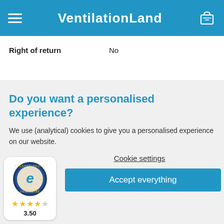VentilationLand
|  |  |
| --- | --- |
| Right of return | No |
Do you want a personalised experience?
We use (analytical) cookies to give you a personalised experience on our website.
Cookie settings
Accept everything
[Figure (logo): Trusted Shops Guarantee badge with circular logo, star rating and 3.50 score]